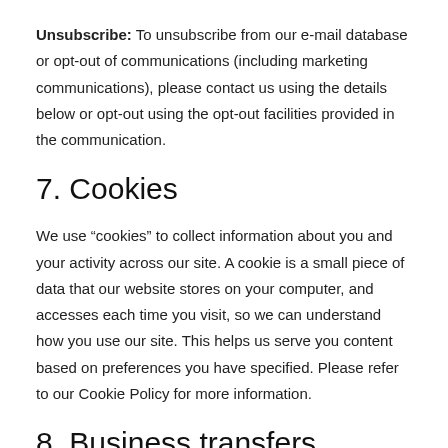Unsubscribe: To unsubscribe from our e-mail database or opt-out of communications (including marketing communications), please contact us using the details below or opt-out using the opt-out facilities provided in the communication.
7. Cookies
We use “cookies” to collect information about you and your activity across our site. A cookie is a small piece of data that our website stores on your computer, and accesses each time you visit, so we can understand how you use our site. This helps us serve you content based on preferences you have specified. Please refer to our Cookie Policy for more information.
8. Business transfers
If we or our assets are acquired, or in the unlikely event that we go